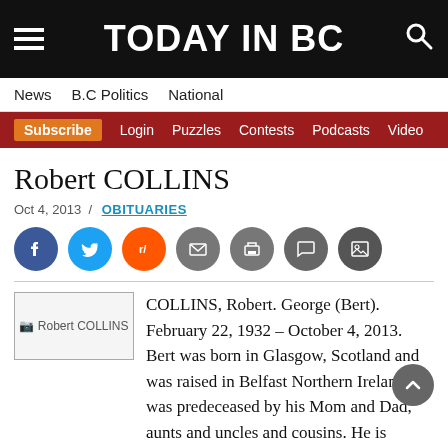TODAY IN BC
News  B.C Politics  National
Subscribe  Login  Puzzles  Contests  Podcasts  Video
Robert COLLINS
Oct 4, 2013 / OBITUARIES
[Figure (other): Social share buttons: Facebook, Twitter, Reddit, Email, Print, Comment, Image]
[Figure (photo): Thumbnail image placeholder for Robert COLLINS]
COLLINS, Robert. George (Bert). February 22, 1932 – October 4, 2013. Bert was born in Glasgow, Scotland and was raised in Belfast Northern Ireland. He was predeceased by his Mom and Dad, aunts and uncles and cousins. He is survived by his loving wife Grace of 49 years, son Glenn (Trish) and